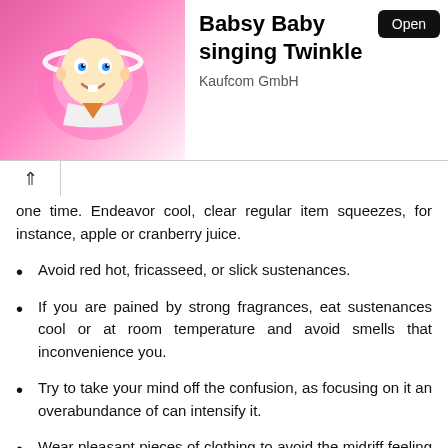[Figure (screenshot): App store ad banner for 'Babsy Baby singing Twinkle' by Kaufcom GmbH with an Open button and cartoon baby image on pink background]
one time. Endeavor cool, clear regular item squeezes, for instance, apple or cranberry juice.
Avoid red hot, fricasseed, or slick sustenances.
If you are pained by strong fragrances, eat sustenances cool or at room temperature and avoid smells that inconvenience you.
Try to take your mind off the confusion, as focusing on it an overabundance of can intensify it.
Wear pleasant pieces of clothing to avoid the midriff feeling tight.